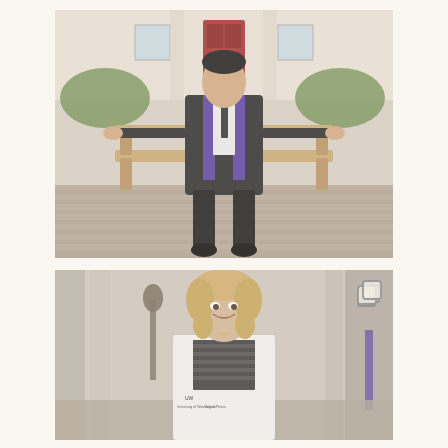[Figure (photo): Young man in black graduation gown with purple sash/stole, sitting on a wooden bench with arms spread wide, smiling, in front of a building with red door and greenery.]
[Figure (photo): Young woman with blonde hair smiling, wearing a white medical/pharmacy coat with University of Washington logo, standing outdoors in a campus corridor with stone columns.]